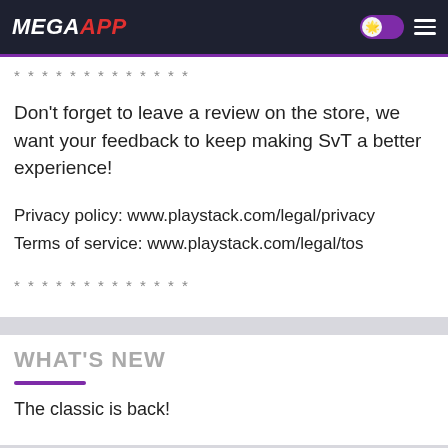MEGAAPP
* * * * * * * * * * * * *
Don't forget to leave a review on the store, we want your feedback to keep making SvT a better experience!
Privacy policy: www.playstack.com/legal/privacy
Terms of service: www.playstack.com/legal/tos
* * * * * * * * * * * * *
WHAT'S NEW
The classic is back!
VIDEO